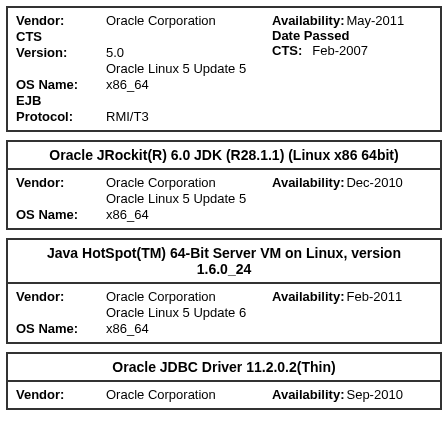| Vendor: | Oracle Corporation | Availability: | May-2011 |
| CTS |  | Date Passed |  |
| Version: | 5.0 | CTS: | Feb-2007 |
|  | Oracle Linux 5 Update 5 |  |  |
| OS Name: | x86_64 |  |  |
| EJB |  |  |  |
| Protocol: | RMI/T3 |  |  |
| Oracle JRockit(R) 6.0 JDK (R28.1.1) (Linux x86 64bit) |
| --- |
| Vendor: | Oracle Corporation | Availability: | Dec-2010 |
|  | Oracle Linux 5 Update 5 |  |  |
| OS Name: | x86_64 |  |  |
| Java HotSpot(TM) 64-Bit Server VM on Linux, version 1.6.0_24 |
| --- |
| Vendor: | Oracle Corporation | Availability: | Feb-2011 |
|  | Oracle Linux 5 Update 6 |  |  |
| OS Name: | x86_64 |  |  |
| Oracle JDBC Driver 11.2.0.2(Thin) |
| --- |
| Vendor: | Oracle Corporation | Availability: | Sep-2010 |